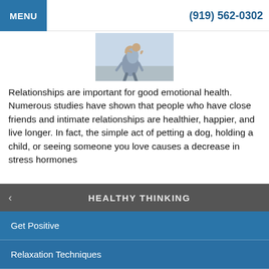MENU  (919) 562-0302
[Figure (photo): Two people outdoors, one giving the other a piggyback ride, wearing casual/athletic clothing]
Relationships are important for good emotional health. Numerous studies have shown that people who have close friends and intimate relationships are healthier, happier, and live longer. In fact, the simple act of petting a dog, holding a child, or seeing someone you love causes a decrease in stress hormones
Read more
HEALTHY THINKING
Get Positive
Relaxation Techniques